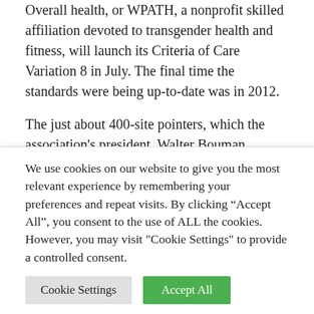Overall health, or WPATH, a nonprofit skilled affiliation devoted to transgender health and fitness, will launch its Criteria of Care Variation 8 in July. The final time the standards were being up-to-date was in 2012.

The just about 400-site pointers, which the association's president, Walter Bouman, described in an emailed statement as “the most in depth set” of advice ever developed for health care companies who assistance transgender folks, include things like many substantial
We use cookies on our website to give you the most relevant experience by remembering your preferences and repeat visits. By clicking “Accept All”, you consent to the use of ALL the cookies. However, you may visit "Cookie Settings" to provide a controlled consent.